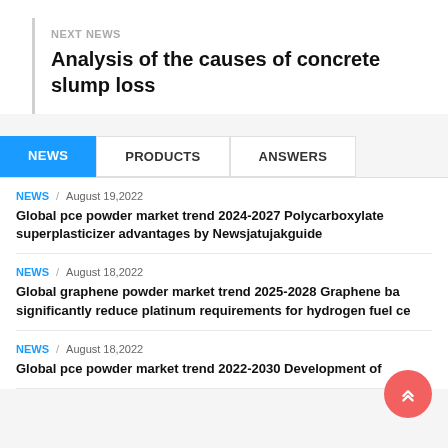NEXT NEWS
Analysis of the causes of concrete slump loss
NEWS | PRODUCTS | ANSWERS (tabs)
NEWS / August 19,2022 — Global pce powder market trend 2024-2027 Polycarboxylate superplasticizer advantages by Newsjatujakguide
NEWS / August 18,2022 — Global graphene powder market trend 2025-2028 Graphene ba significantly reduce platinum requirements for hydrogen fuel ce
NEWS / August 18,2022 — Global pce powder market trend 2022-2030 Development of